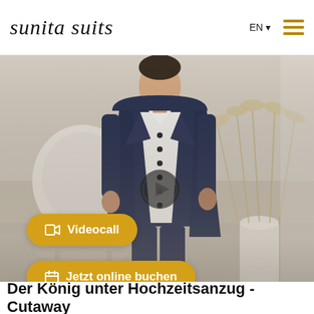sunita suits
[Figure (photo): Man wearing a dark navy wedding suit (cutaway style) with white vest and dark trousers, standing in a beige/cream interior setting with decorative chair and dried pampas grass in a white vase. A video play button overlay is visible in the center of the image.]
Videocall
Jetzt online buchen
Der König unter Hochzeitsanzug - Cutaway